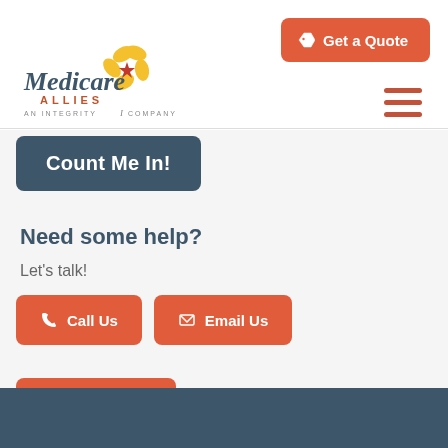[Figure (logo): Medicare Allies logo — handshake/flower icon with text 'Medicare ALLIES, AN INTEGRITY COMPANY']
Get a Quote
Count Me In!
Need some help?
Let's talk!
Call Us
Email Us
Get Quote